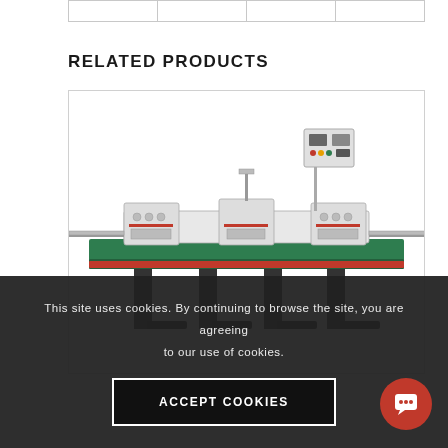|   |   |   |   |
RELATED PRODUCTS
[Figure (photo): Industrial woodworking / edge-banding machine — a long horizontal machine with green body, red accent rails, multiple clamp/press heads, and a digital control panel mounted on a vertical arm at the top right.]
This site uses cookies. By continuing to browse the site, you are agreeing to our use of cookies.
ACCEPT COOKIES